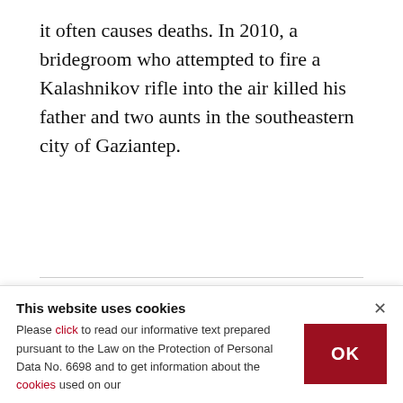it often causes deaths. In 2010, a bridegroom who attempted to fire a Kalashnikov rifle into the air killed his father and two aunts in the southeastern city of Gaziantep.
[Figure (other): Social sharing icons: Twitter, Facebook, LinkedIn, Email, Link]
KEYWORDS
TURKEY
This website uses cookies
Please click to read our informative text prepared pursuant to the Law on the Protection of Personal Data No. 6698 and to get information about the cookies used on our